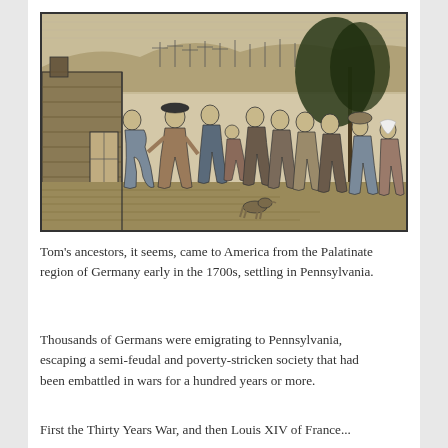[Figure (illustration): A historical engraving/etching depicting a group of people, likely German Palatinate emigrants, gathered outside a building. Multiple figures in 18th-century dress are shown, some carrying belongings. In the background, a landscape with what appears to be a fleet of ships or encampment is visible. The image has a sepia/black-and-white etching style with detailed crosshatching.]
Tom's ancestors, it seems, came to America from the Palatinate region of Germany early in the 1700s, settling in Pennsylvania.
Thousands of Germans were emigrating to Pennsylvania, escaping a semi-feudal and poverty-stricken society that had been embattled in wars for a hundred years or more.
First the Thirty Years War, and then Louis XIV of France...